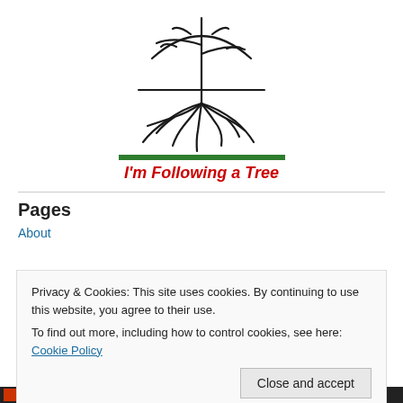[Figure (illustration): Hand-drawn style illustration of a tree showing both above-ground branches and below-ground root system, with a horizontal ground line. Below the illustration is a solid green horizontal bar. Below the green bar is the site title text 'I'm Following a Tree' in red italic bold font.]
I'm Following a Tree
Pages
About
Privacy & Cookies: This site uses cookies. By continuing to use this website, you agree to their use.
To find out more, including how to control cookies, see here: Cookie Policy
Close and accept